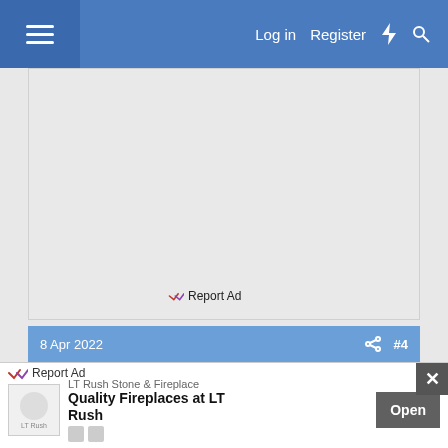Log in  Register
[Figure (screenshot): Gray advertisement placeholder area with 'Report Ad' link at bottom]
Report Ad
8 Apr 2022  #4
niemeyjt
Established Member
[Figure (infographic): Bottom banner ad: LT Rush Stone & Fireplace - Quality Fireplaces at LT Rush, with Open button and close X button]